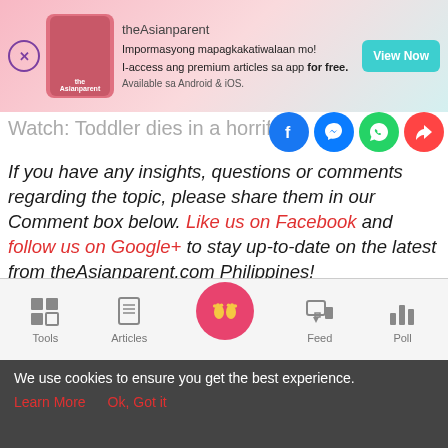[Figure (screenshot): theAsianparent app advertisement banner with pink gradient background, app icon, tagline in Filipino, and 'View Now' teal button]
Watch: Toddler dies in a horrific eleva
If you have any insights, questions or comments regarding the topic, please share them in our Comment box below. Like us on Facebook and follow us on Google+ to stay up-to-date on the latest from theAsianparent.com Philippines!
Partner Stories
[Figure (screenshot): Bottom navigation bar with Tools, Articles, home button (pink circle with baby feet), Feed, and Poll icons]
We use cookies to ensure you get the best experience.
Learn More   Ok, Got it